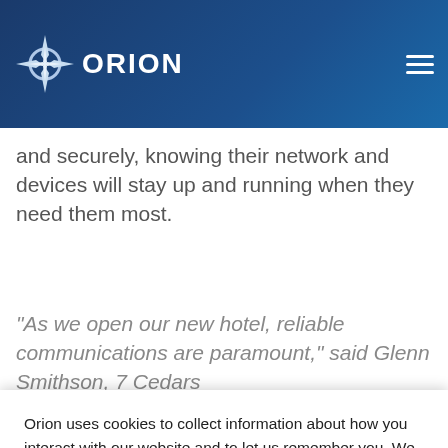Orion logo and navigation header
and securely, knowing their network and devices will stay up and running when they need them most.
“As we open our new hotel, reliable communications are paramount,” said Glenn Smithson, 7 Cedars
Orion uses cookies to collect information about how you interact with our website and to let us remember you. We use this information in order customize your experience and for analytics on our sites and other media. To find out more, please read our Privacy Policy.
If you decline, your information won’t be tracked when you visit this website. A single cookie will be used in your browser to remember your preference not to be tracked.